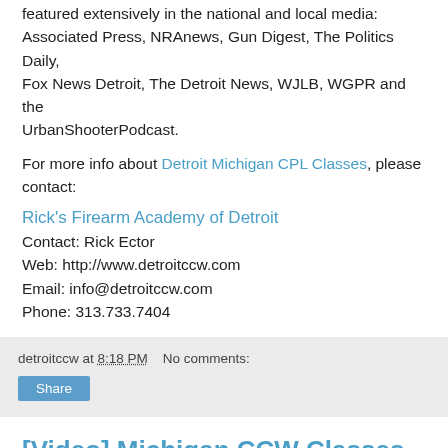featured extensively in the national and local media: Associated Press, NRAnews, Gun Digest, The Politics Daily, Fox News Detroit, The Detroit News, WJLB, WGPR and the UrbanShooterPodcast.
For more info about Detroit Michigan CPL Classes, please contact:
Rick's Firearm Academy of Detroit
Contact: Rick Ector
Web: http://www.detroitccw.com
Email: info@detroitccw.com
Phone: 313.733.7404
detroitccw at 8:18 PM   No comments:
[Video] Michigan CCW Classes in Detroit Michigan: Testimonial #226